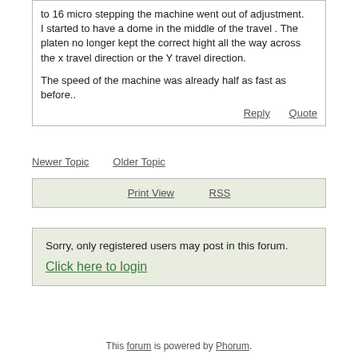to 16 micro stepping the machine went out of adjustment.
I started to have a dome in the middle of the travel . The platen no longer kept the correct hight all the way across the x travel direction or the Y travel direction.

The speed of the machine was already half as fast as before..
Reply   Quote
Newer Topic   Older Topic
Print View   RSS
Sorry, only registered users may post in this forum.

Click here to login
This forum is powered by Phorum.